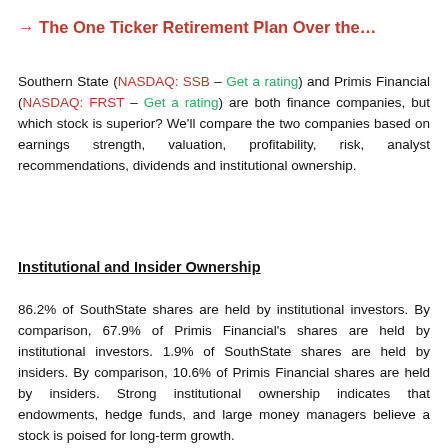→ The One Ticker Retirement Plan Over the…
Southern State (NASDAQ: SSB – Get a rating) and Primis Financial (NASDAQ: FRST – Get a rating) are both finance companies, but which stock is superior? We'll compare the two companies based on earnings strength, valuation, profitability, risk, analyst recommendations, dividends and institutional ownership.
Institutional and Insider Ownership
86.2% of SouthState shares are held by institutional investors. By comparison, 67.9% of Primis Financial's shares are held by institutional investors. 1.9% of SouthState shares are held by insiders. By comparison, 10.6% of Primis Financial shares are held by insiders. Strong institutional ownership indicates that endowments, hedge funds, and large money managers believe a stock is poised for long-term growth.